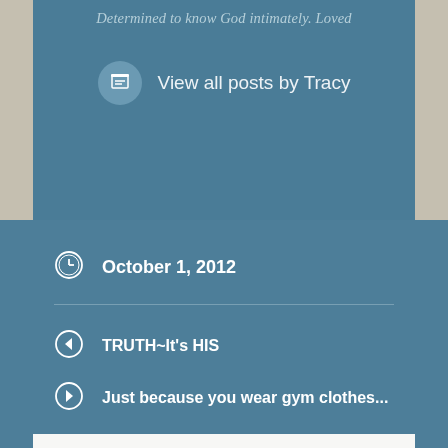Determined to know God intimately. Loved
View all posts by Tracy
October 1, 2012
TRUTH~It's HIS
Just because you wear gym clothes...
One thought on “It’s how you let it effect you...”
Anita Paul